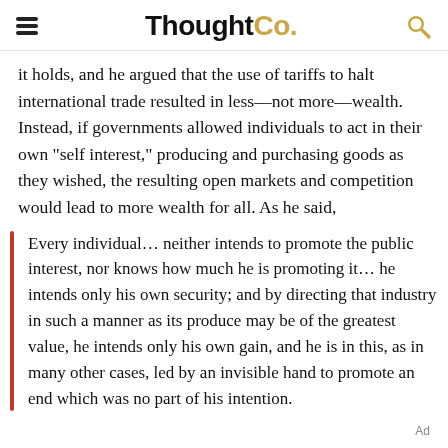ThoughtCo.
it holds, and he argued that the use of tariffs to halt international trade resulted in less—not more—wealth. Instead, if governments allowed individuals to act in their own "self interest," producing and purchasing goods as they wished, the resulting open markets and competition would lead to more wealth for all. As he said,
Every individual… neither intends to promote the public interest, nor knows how much he is promoting it… he intends only his own security; and by directing that industry in such a manner as its produce may be of the greatest value, he intends only his own gain, and he is in this, as in many other cases, led by an invisible hand to promote an end which was no part of his intention.